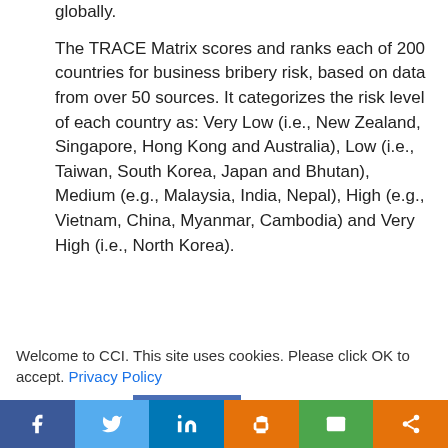globally.
The TRACE Matrix scores and ranks each of 200 countries for business bribery risk, based on data from over 50 sources. It categorizes the risk level of each country as: Very Low (i.e., New Zealand, Singapore, Hong Kong and Australia), Low (i.e., Taiwan, South Korea, Japan and Bhutan), Medium (e.g., Malaysia, India, Nepal), High (e.g., Vietnam, China, Myanmar, Cambodia) and Very High (i.e., North Korea).
Welcome to CCI. This site uses cookies. Please click OK to accept. Privacy Policy
Cookie settings   ACCEPT